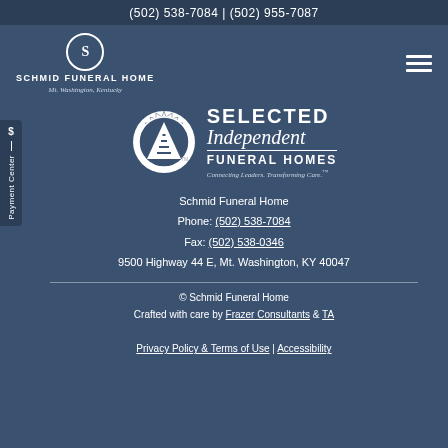(502) 538-7084 | (502) 955-7087
[Figure (logo): Schmid Funeral Home logo with circular emblem and text: SCHMID FUNERAL HOME, Mt. Washington, Kentucky]
[Figure (logo): Selected Independent Funeral Homes logo with triangular badge seal, text: SELECTED Independent FUNERAL HOMES, Connecting Leaders. Transforming Care.]
Schmid Funeral Home
Phone: (502) 538-7084
Fax: (502) 538-0346
9500 Highway 44 E, Mt. Washington, KY 40047
© Schmid Funeral Home
Crafted with care by Frazer Consultants & TA
Privacy Policy & Terms of Use | Accessibility